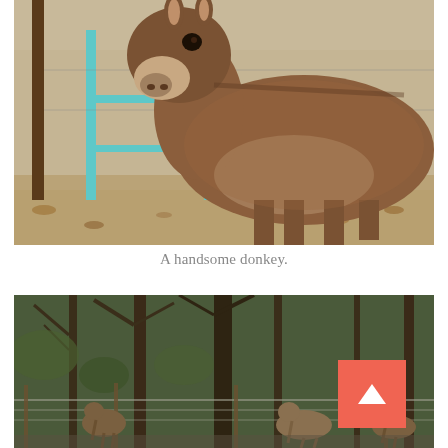[Figure (photo): A brown donkey standing in a dirt farmyard with a teal/turquoise metal gate visible in the background and dry leaves on the ground.]
A handsome donkey.
[Figure (photo): A wooded outdoor area with deer visible through a wire fence among bare trees, with a coral/red scroll-up button overlay in the lower right corner.]